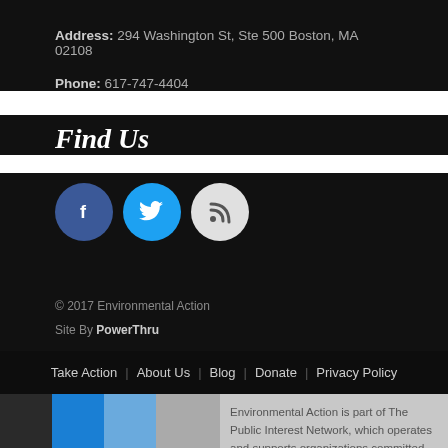Address: 294 Washington St, Ste 500 Boston, MA 02108
Phone: 617-747-4404
Find Us
[Figure (illustration): Three social media icon circles: Facebook (dark blue), Twitter (cyan/blue), RSS feed (light gray)]
© 2017 Environmental Action
Site By PowerThru
Take Action | About Us | Blog | Donate | Privacy Policy
Environmental Action is part of The Public Interest Network, which operates and supports organizations committed to a shared vision of a better world and a strategic approach to social change.